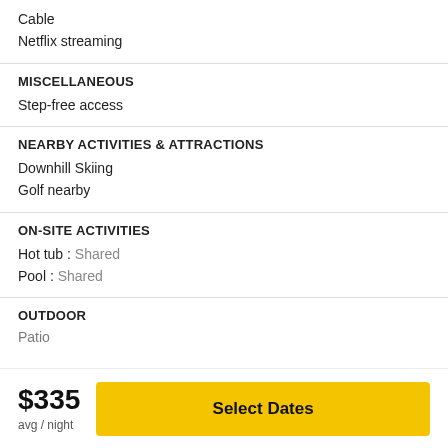Cable
Netflix streaming
MISCELLANEOUS
Step-free access
NEARBY ACTIVITIES & ATTRACTIONS
Downhill Skiing
Golf nearby
ON-SITE ACTIVITIES
Hot tub : Shared
Pool : Shared
OUTDOOR
Patio
$335 avg / night
Select Dates